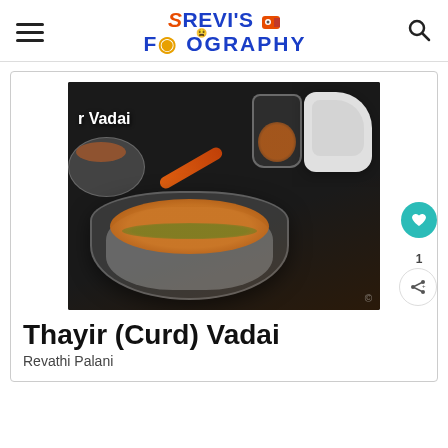Srevi's Foodography
[Figure (photo): Food photograph of Thayir (Curd) Vadai dish in a glass bowl topped with chickpeas and garnish, with a white sauce boat, a glass jar of chickpeas, and a side plate in the background on a dark surface. Text 'r Vadai' visible on image.]
Thayir (Curd) Vadai
Revathi Palani